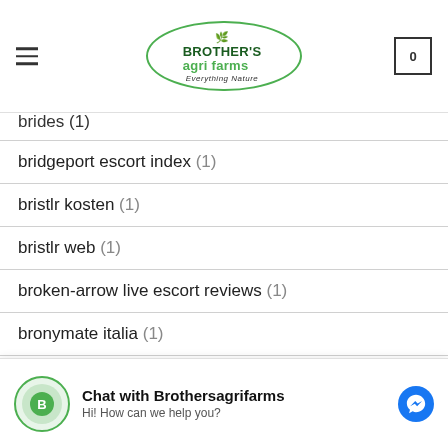Brother's Agri Farms - Everything Nature
brides (1)
bridgeport escort index (1)
bristlr kosten (1)
bristlr web (1)
broken-arrow live escort reviews (1)
bronymate italia (1)
bronymate preise (1)
brownsville escort sites (1)
Chat with Brothersagrifarms
Hi! How can we help you?